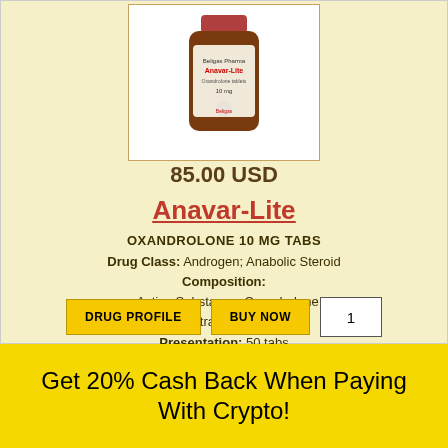[Figure (photo): Amber medicine bottle with Anavar-Lite label from Beligas Pharmaceuticals]
85.00 USD
Anavar-Lite
OXANDROLONE 10 MG TABS
Drug Class: Androgen; Anabolic Steroid
Composition:
- Active Substance: Oxandrolone
- Concentration: 10 mg/tab
Presentation: 50 tabs
Manufacturer: Beligas Pharmaceuticals
USA Only Domestic Delivery
DRUG PROFILE | BUY NOW | 1
Get 20% Cash Back When Paying With Crypto!